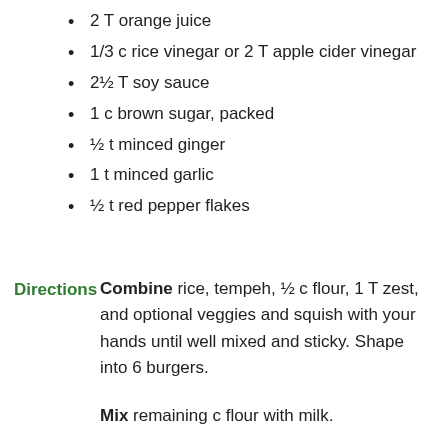2 T orange juice
1/3 c rice vinegar or 2 T apple cider vinegar
2½ T soy sauce
1 c brown sugar, packed
½ t minced ginger
1 t minced garlic
½ t red pepper flakes
Directions
Combine rice, tempeh, ½ c flour, 1 T zest, and optional veggies and squish with your hands until well mixed and sticky. Shape into 6 burgers.
Mix remaining c flour with milk.
Pour the bread crumbs into a shallow